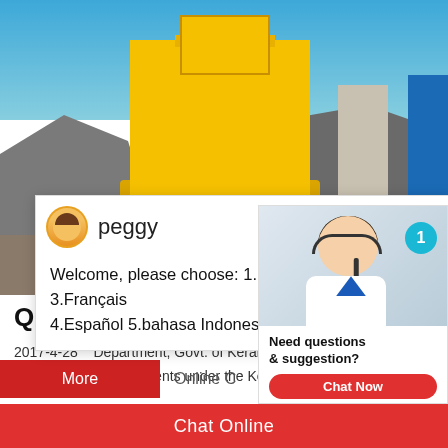[Figure (photo): Photograph of a yellow quarry crushing machine/equipment in a rocky quarry site with blue sky in the background and a blue conveyor element on the right]
[Figure (screenshot): Live chat popup with avatar labeled 'peggy' showing language selection message: 'Welcome, please choose: 1.English 2.Русский 3.Français 4.Español 5.bahasa Indonesia 6.عربى' and a close (×) button]
QUARRY PROJECT OF M/s SRI L
2017-4-28    Department, Govt. of Kerala. Th
based on the requirements under the Kerala M
[Figure (photo): Customer service representative (woman with headset) with a teal badge showing '1', and 'Need questions & suggestion?' text with a red 'Chat Now' button]
Chat Online